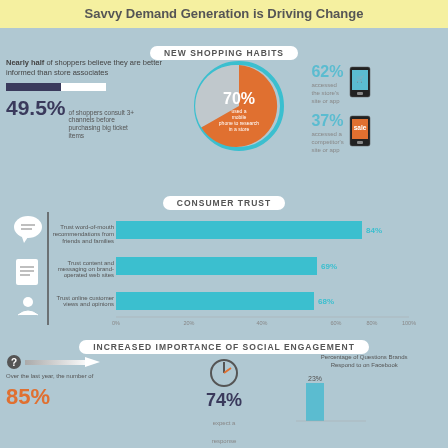Savvy Demand Generation is Driving Change
NEW SHOPPING HABITS
Nearly half of shoppers believe they are better informed than store associates
49.5% of shoppers consult 3+ channels before purchasing big ticket items
[Figure (pie-chart): Mobile phone use in store]
62% accessed the store's site or app
37% accessed a competitor's site or app
CONSUMER TRUST
[Figure (bar-chart): Consumer Trust]
INCREASED IMPORTANCE OF SOCIAL ENGAGEMENT
Over the last year, the number of...
85%
74% expect a response
Percentage of Questions Brands Respond to on Facebook
23%